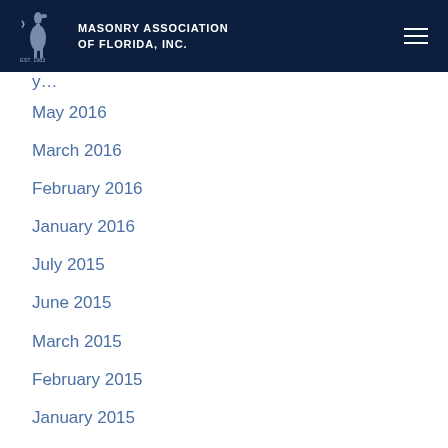MASONRY ASSOCIATION OF FLORIDA, INC.
May 2016
March 2016
February 2016
January 2016
July 2015
June 2015
March 2015
February 2015
January 2015
December 2014
November 2014
October 2014
September 2014